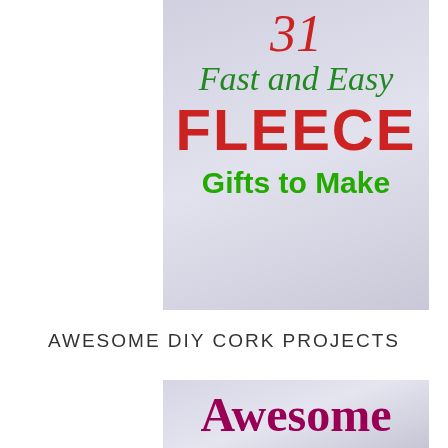[Figure (illustration): Decorative card with light purple/grey gradient background showing text: '31 Fast and Easy FLEECE Gifts to Make' in red and green colors]
AWESOME DIY CORK PROJECTS
[Figure (illustration): Partial decorative card with light purple/grey gradient background showing large text 'Awesome' in dark magenta/maroon color]